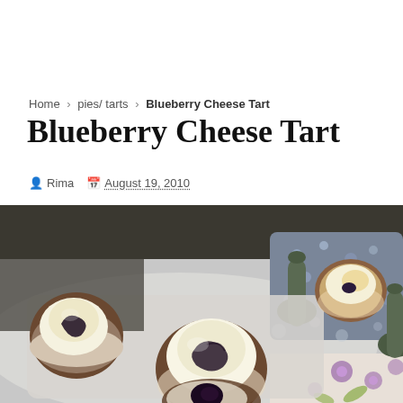Home > pies/ tarts > Blueberry Cheese Tart
Blueberry Cheese Tart
Rima  August 19, 2010
[Figure (photo): Close-up photo of blueberry cheese tarts in red-and-white paper cups on a white tray, with decorative ceramic spoons and a floral patterned box in the background.]